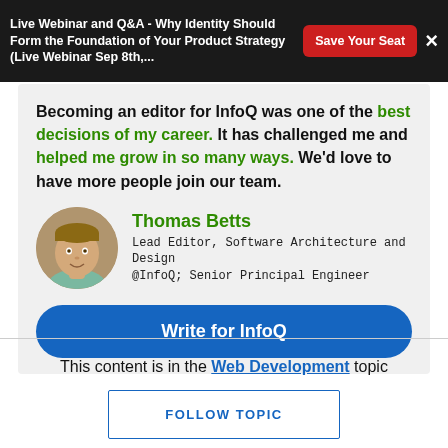Live Webinar and Q&A - Why Identity Should Form the Foundation of Your Product Strategy (Live Webinar Sep 8th,...
Becoming an editor for InfoQ was one of the best decisions of my career. It has challenged me and helped me grow in so many ways. We'd love to have more people join our team.
Thomas Betts
Lead Editor, Software Architecture and Design @InfoQ; Senior Principal Engineer
Write for InfoQ
This content is in the Web Development topic
FOLLOW TOPIC